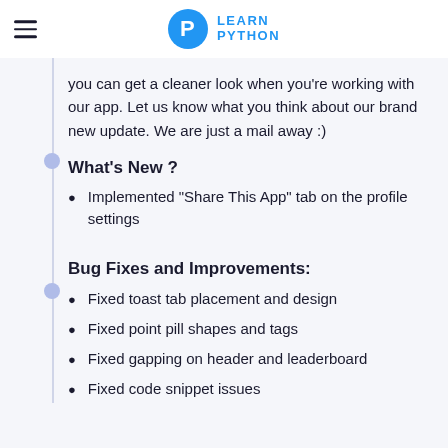LEARN PYTHON
you can get a cleaner look when you're working with our app. Let us know what you think about our brand new update. We are just a mail away :)
What's New ?
Implemented "Share This App" tab on the profile settings
Bug Fixes and Improvements:
Fixed toast tab placement and design
Fixed point pill shapes and tags
Fixed gapping on header and leaderboard
Fixed code snippet issues